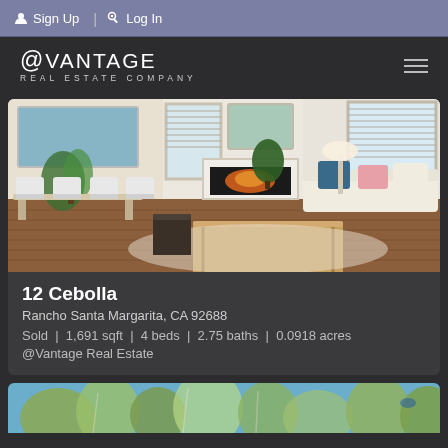Sign Up | Log In
[Figure (logo): @Vantage Real Estate Company logo with hamburger menu]
[Figure (photo): Interior living room photo of property at 12 Cebolla - shows dining area, seating, fireplace with warm wood floors]
12 Cebolla
Rancho Santa Margarita, CA 92688
Sold | 1,691 sqft | 4 beds | 2.75 baths | 0.0918 acres
@Vantage Real Estate
[Figure (photo): Partial view of outdoor trees against blue sky]